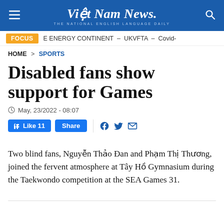Việt Nam News. THE NATIONAL ENGLISH LANGUAGE DAILY
FOCUS  E ENERGY CONTINENT – UKVFTA – Covid-
HOME > SPORTS
Disabled fans show support for Games
May, 23/2022 - 08:07
Like 11  Share
Two blind fans, Nguyễn Thảo Đan and Phạm Thị Thương, joined the fervent atmosphere at Tây Hồ Gymnasium during the Taekwondo competition at the SEA Games 31.